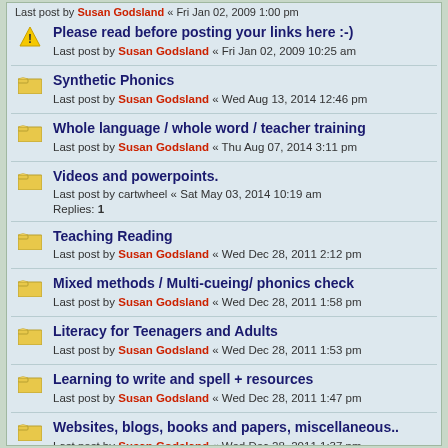Last post by Susan Godsland « Fri Jan 02, 2009 1:00 pm
Please read before posting your links here :-) Last post by Susan Godsland « Fri Jan 02, 2009 10:25 am
Synthetic Phonics Last post by Susan Godsland « Wed Aug 13, 2014 12:46 pm
Whole language / whole word / teacher training Last post by Susan Godsland « Thu Aug 07, 2014 3:11 pm
Videos and powerpoints. Last post by cartwheel « Sat May 03, 2014 10:19 am Replies: 1
Teaching Reading Last post by Susan Godsland « Wed Dec 28, 2011 2:12 pm
Mixed methods / Multi-cueing/ phonics check Last post by Susan Godsland « Wed Dec 28, 2011 1:58 pm
Literacy for Teenagers and Adults Last post by Susan Godsland « Wed Dec 28, 2011 1:53 pm
Learning to write and spell + resources Last post by Susan Godsland « Wed Dec 28, 2011 1:47 pm
Websites, blogs, books and papers, miscellaneous.. Last post by Susan Godsland « Wed Dec 28, 2011 1:37 pm
Synthetic phonics programmes and resources Last post by Susan Godsland « Wed Dec 28, 2011 1:25 pm
Decodable Books